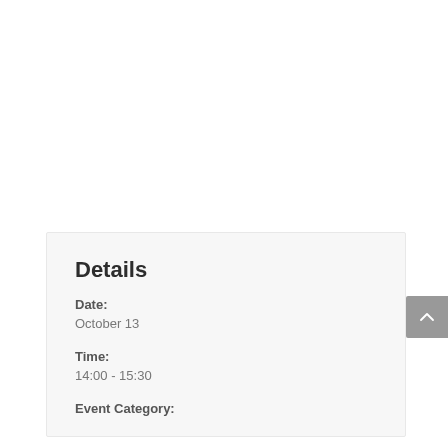Details
Date:
October 13
Time:
14:00 - 15:30
Event Category: